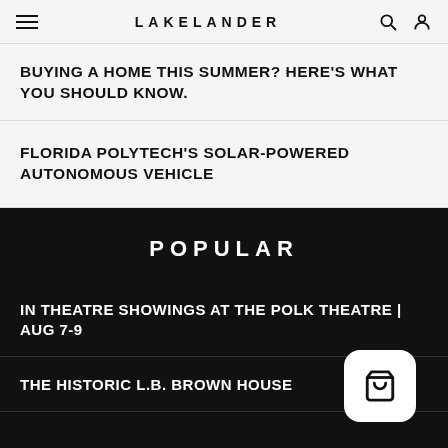LAKELANDER
BUYING A HOME THIS SUMMER? HERE'S WHAT YOU SHOULD KNOW.
FLORIDA POLYTECH'S SOLAR-POWERED AUTONOMOUS VEHICLE
POPULAR
IN THEATRE SHOWINGS AT THE POLK THEATRE | AUG 7-9
THE HISTORIC L.B. BROWN HOUSE